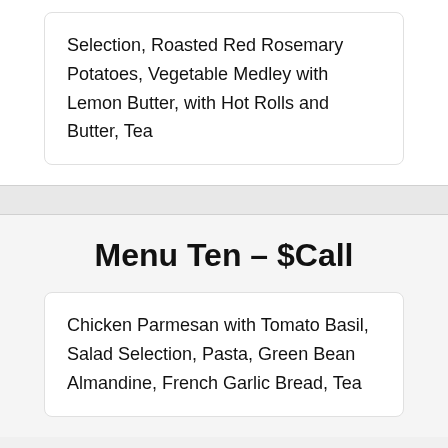Selection, Roasted Red Rosemary Potatoes, Vegetable Medley with Lemon Butter, with Hot Rolls and Butter, Tea
Menu Ten – $Call
Chicken Parmesan with Tomato Basil, Salad Selection, Pasta, Green Bean Almandine, French Garlic Bread, Tea